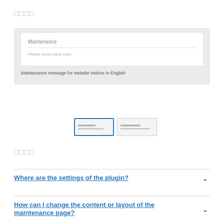□□□□
[Figure (screenshot): Preview of a maintenance page showing 'Maintenance' as the heading and 'Please check back soon.' as the body text, with caption 'Maintenance message for website visitors in English']
[Figure (screenshot): Two thumbnail layout options for the maintenance page, the first one selected with a blue border]
□□□□
Where are the settings of the plugin?
How can I change the content or layout of the maintenance page?